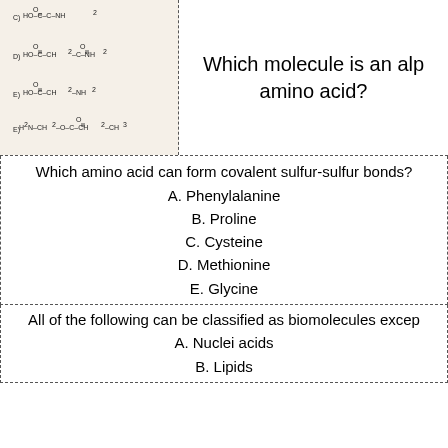[Figure (illustration): Chemical structural formulas of molecules labeled C, D, and E showing various organic compounds with HO-C, CH2, NH2, and H2N groups]
Which molecule is an alpha amino acid?
Which amino acid can form covalent sulfur-sulfur bonds?
A. Phenylalanine
B. Proline
C. Cysteine
D. Methionine
E. Glycine
All of the following can be classified as biomolecules except:
A. Nuclei acids
B. Lipids